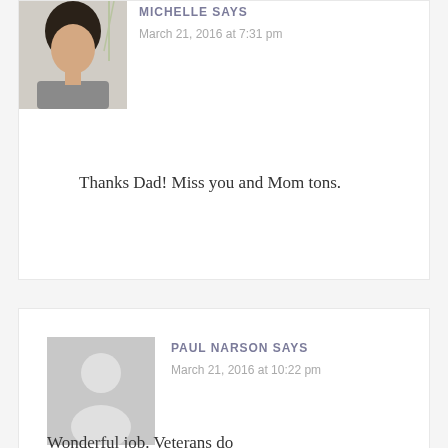[Figure (photo): Profile photo of Michelle, a woman with dark hair wearing a grey top, seated indoors]
MICHELLE SAYS
March 21, 2016 at 7:31 pm
Thanks Dad! Miss you and Mom tons.
[Figure (illustration): Default grey avatar silhouette placeholder for Paul Narson]
PAUL NARSON SAYS
March 21, 2016 at 10:22 pm
Wonderful job. Veterans do